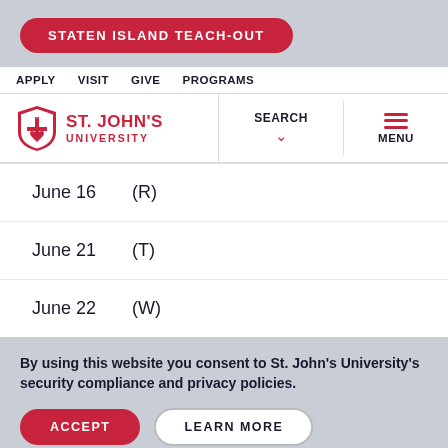STATEN ISLAND TEACH-OUT
APPLY   VISIT   GIVE   PROGRAMS
[Figure (logo): St. John's University shield logo with text 'ST. JOHN'S UNIVERSITY' in red]
SEARCH
MENU
| Date | Day |
| --- | --- |
| June 16 | (R) |
| June 21 | (T) |
| June 22 | (W) |
By using this website you consent to St. John's University's security compliance and privacy policies.
ACCEPT
LEARN MORE